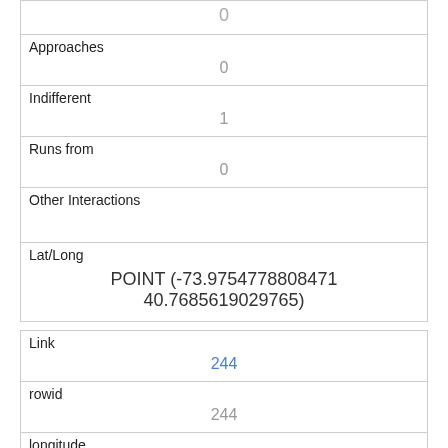| 0 |
| Approaches | 0 |
| Indifferent | 1 |
| Runs from | 0 |
| Other Interactions |  |
| Lat/Long | POINT (-73.9754778808471 40.7685619029765) |
| Link | 244 |
| rowid | 244 |
| longitude | -73.9597648775789 |
| latitude | 40.7903443029725 |
| Unique Squirrel ID |  |